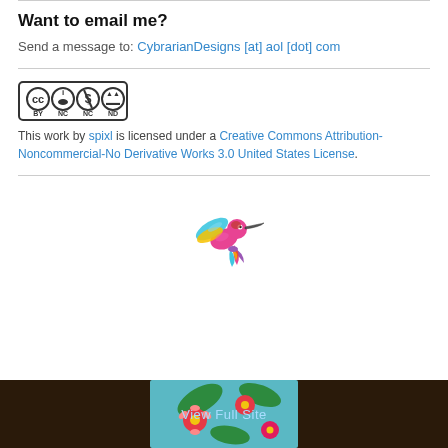Want to email me?
Send a message to: CybrarianDesigns [at] aol [dot] com
[Figure (logo): Creative Commons license badge showing CC BY NC ND icons]
This work by spixl is licensed under a Creative Commons Attribution-Noncommercial-No Derivative Works 3.0 United States License.
[Figure (illustration): Colorful decorative hummingbird illustration in bright folk-art style colors]
View Full Site